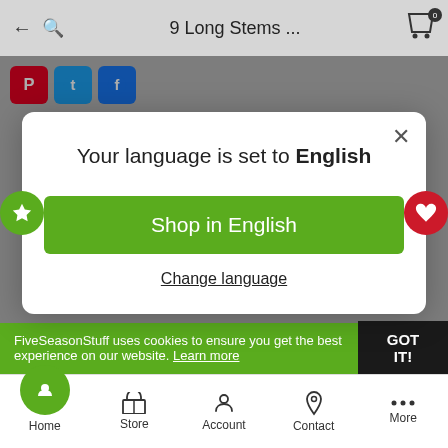9 Long Stems ...
[Figure (screenshot): Mobile app screenshot showing language selection modal on a flower shop website. Social share icons (Pinterest, Twitter, Facebook) visible in background. Modal reads 'Your language is set to English' with 'Shop in English' green button and 'Change language' link. Cookie consent bar at bottom with GOT IT button. Bottom navigation bar with Home, Store, Account, Contact, More tabs.]